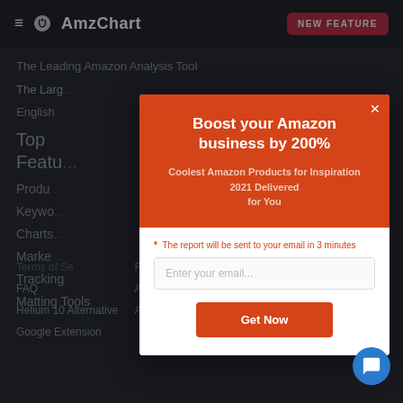≡ AmzChart | NEW FEATURE
The Leading Amazon Analysis Tool
The Larg...
English
Top Feature
Product
Keyword
Charts
Market
Tracking
Matting Tools
Boost your Amazon business by 200%
Coolest Amazon Products for Inspiration 2021 Delivered for You
* The report will be sent to your email in 3 minutes
Enter your email...
Get Now
Terms of Service
FAQ
Helium 10 Alternative
Google Extension
Report
Amazon BSR Report
Amazon Industry Re...